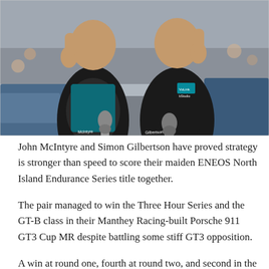[Figure (photo): Two racing drivers in black race suits holding trophies shaped like helmets, giving thumbs up and smiling at the camera. Names visible on suits: McIntyre and Gilbertson. Background shows a racing circuit with spectators.]
John McIntyre and Simon Gilbertson have proved strategy is stronger than speed to score their maiden ENEOS North Island Endurance Series title together.
The pair managed to win the Three Hour Series and the GT-B class in their Manthey Racing-built Porsche 911 GT3 Cup MR despite battling some stiff GT3 opposition.
A win at round one, fourth at round two, and second in the season finale at Manfeild Circuit Chris Amon